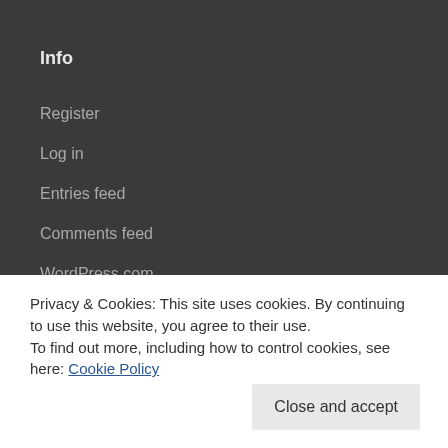Info
Register
Log in
Entries feed
Comments feed
WordPress.com
Privacy & Cookies: This site uses cookies. By continuing to use this website, you agree to their use.
To find out more, including how to control cookies, see here: Cookie Policy
Close and accept